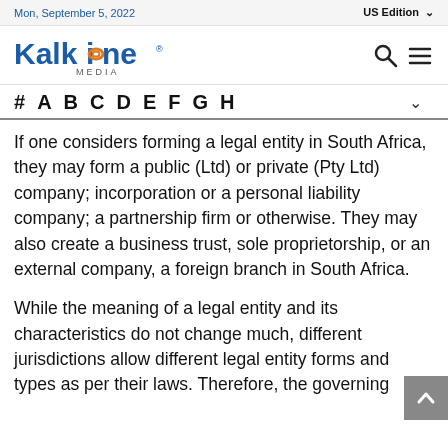Mon, September 5, 2022   US Edition
[Figure (logo): Kalkine Media logo]
# A B C D E F G H
If one considers forming a legal entity in South Africa, they may form a public (Ltd) or private (Pty Ltd) company; incorporation or a personal liability company; a partnership firm or otherwise. They may also create a business trust, sole proprietorship, or an external company, a foreign branch in South Africa.
While the meaning of a legal entity and its characteristics do not change much, different jurisdictions allow different legal entity forms and types as per their laws. Therefore, the governing